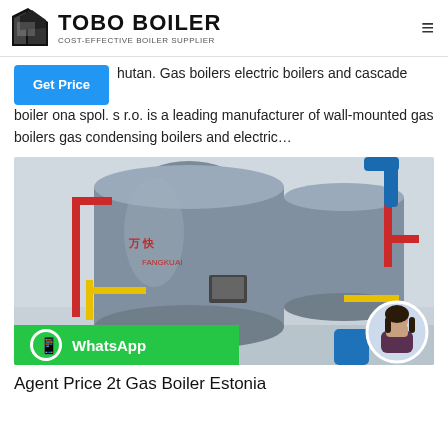TOBO BOILER — COST-EFFECTIVE BOILER SUPPLIER
hutan. Gas boilers electric boilers and cascade boiler ona spol. s r.o. is a leading manufacturer of wall-mounted gas boilers gas condensing boilers and electric…
[Figure (photo): Industrial gas boilers in a boiler room facility, branded with Chinese text (万快/FANGKUAI). WhatsApp contact button overlay at bottom left. Female avatar portrait at bottom right.]
Agent Price 2t Gas Boiler Estonia